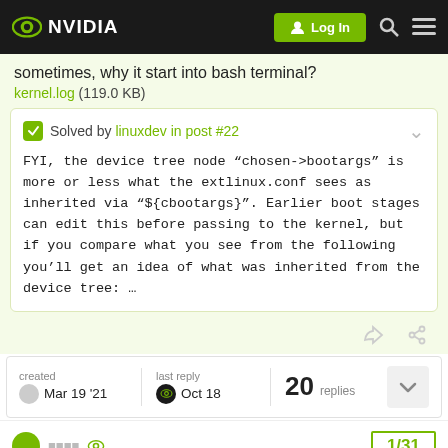NVIDIA — Log In
sometimes, why it start into bash terminal?
kernel.log (119.0 KB)
Solved by linuxdev in post #22
FYI, the device tree node “chosen->bootargs” is more or less what the extlinux.conf sees as inherited via “${cbootargs}”. Earlier boot stages can edit this before passing to the kernel, but if you compare what you see from the following you’ll get an idea of what was inherited from the device tree: …
created Mar 19 '21 | last reply Oct 18 | 20 replies
1/31